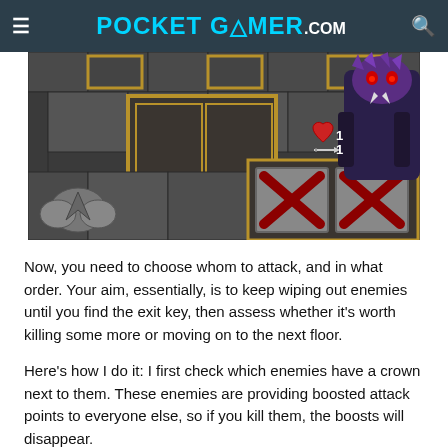POCKET GAMER.com
[Figure (screenshot): A dungeon crawler game screenshot showing a stone dungeon environment with a purple monster character in the top right corner displaying heart and sword stats (1/1), and two gray tiles with red X marks in the bottom right area.]
Now, you need to choose whom to attack, and in what order. Your aim, essentially, is to keep wiping out enemies until you find the exit key, then assess whether it's worth killing some more or moving on to the next floor.
Here's how I do it: I first check which enemies have a crown next to them. These enemies are providing boosted attack points to everyone else, so if you kill them, the boosts will disappear.